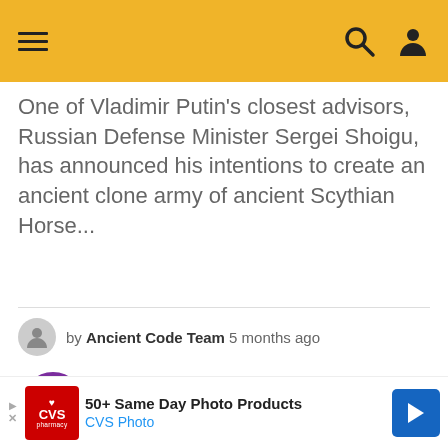Menu | Search | User account
One of Vladimir Putin's closest advisors, Russian Defense Minister Sergei Shoigu, has announced his intentions to create an ancient clone army of ancient Scythian Horse...
by Ancient Code Team 5 months ago
[Figure (logo): Purple circle with white lightning bolt icon]
[Figure (infographic): Advertisement banner: CVS Pharmacy logo, text '50+ Same Day Photo Products', 'CVS Photo', with blue navigation arrow button]